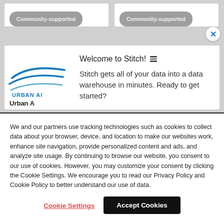Community-supported
Community-supported
[Figure (logo): Urban Airship logo with teal/blue swoosh lines and text 'URBAN AI' and 'Urban A']
Welcome to Stitch!
Stitch gets all of your data into a data warehouse in minutes. Ready to get started?
We and our partners use tracking technologies such as cookies to collect data about your browser, device, and location to make our websites work, enhance site navigation, provide personalized content and ads, and analyze site usage. By continuing to browse our website, you consent to our use of cookies. However, you may customize your consent by clicking the Cookie Settings. We encourage you to read our Privacy Policy and Cookie Policy to better understand our use of data.
Cookie Settings
Accept Cookies